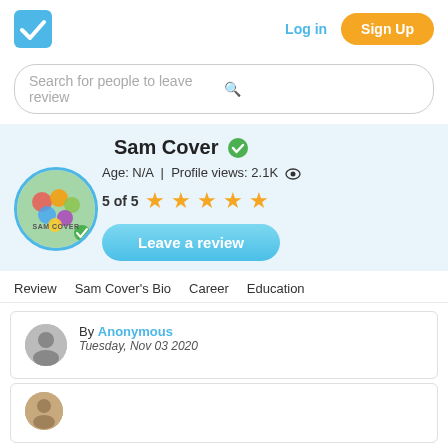Log in  Sign Up
Search for people to leave review
Sam Cover
Age: N/A | Profile views: 2.1K
5 of 5 ★★★★★
Leave a review
Review  Sam Cover's Bio  Career  Education
By Anonymous
Tuesday, Nov 03 2020